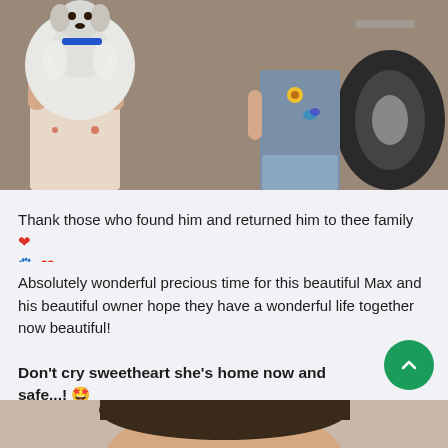[Figure (photo): A child holding a large white fluffy dog with a blue collar outside near a vehicle tire. Another child in a sunflower-print shirt visible in background.]
Thank those who found him and returned him to thee family ❤️ 🐾❤️
Absolutely wonderful precious time for this beautiful Max and his beautiful owner hope they have a wonderful life together now beautiful!
Don't cry sweetheart she's home now and safe...! 🤩
[Figure (photo): Partial view of a person's face/head at the bottom of the page.]